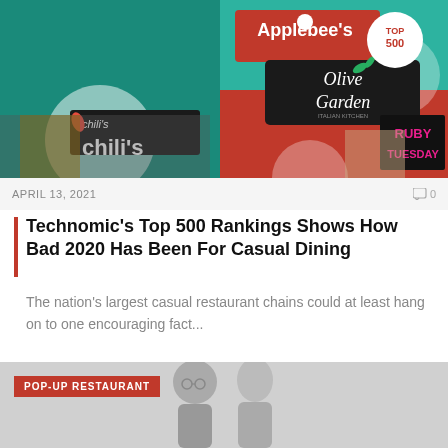[Figure (photo): Collage of restaurant chain signs: Applebee's, Chili's, Olive Garden, Ruby Tuesday with a 'TOP 500' badge on a teal and red background]
APRIL 13, 2021
Technomic's Top 500 Rankings Shows How Bad 2020 Has Been For Casual Dining
The nation's largest casual restaurant chains could at least hang on to one encouraging fact...
[Figure (photo): Black and white photo of two people (a bald man with glasses and a woman) with a red 'POP-UP RESTAURANT' badge overlay]